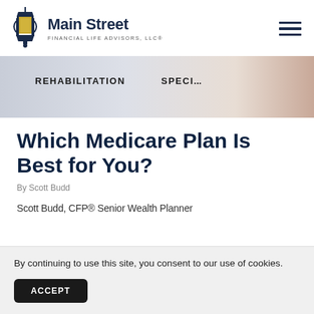[Figure (logo): Main Street Financial Life Advisors, LLC logo with lantern icon and company name]
[Figure (photo): Partial hero image showing text 'REHABILITATION' and 'SPECI...' overlaid on a light background with a human arm visible]
Which Medicare Plan Is Best for You?
By Scott Budd
Scott Budd, CFP® Senior Wealth Planner
By continuing to use this site, you consent to our use of cookies.
ACCEPT